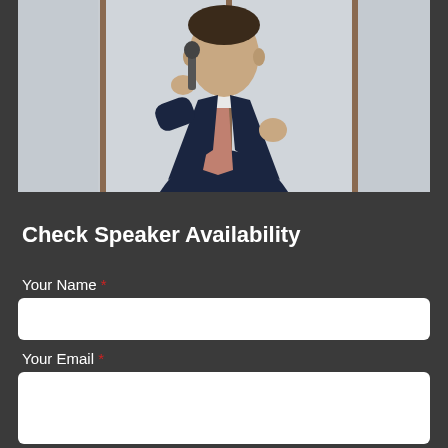[Figure (photo): A man in a dark navy suit and pink/red tie holding a microphone, speaking at an event. He is photographed from the chest up against a light-colored wall with framing panels visible.]
Check Speaker Availability
Your Name *
Your Email *